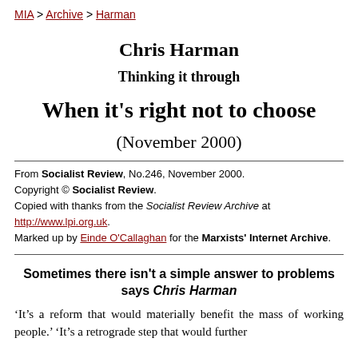MIA > Archive > Harman
Chris Harman
Thinking it through
When it's right not to choose
(November 2000)
From Socialist Review, No.246, November 2000.
Copyright © Socialist Review.
Copied with thanks from the Socialist Review Archive at http://www.lpi.org.uk.
Marked up by Einde O'Callaghan for the Marxists' Internet Archive.
Sometimes there isn't a simple answer to problems says Chris Harman
'It's a reform that would materially benefit the mass of working people.' 'It's a retrograde step that would further